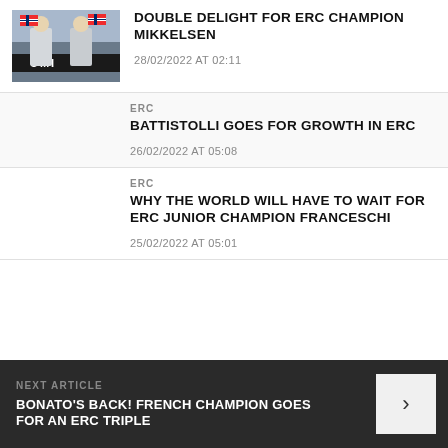[Figure (photo): Two people in racing suits waving Norwegian flags on a podium, with UMI branding visible in background]
DOUBLE DELIGHT FOR ERC CHAMPION MIKKELSEN
28/02/2022 AT 02:11
ERC
BATTISTOLLI GOES FOR GROWTH IN ERC
26/02/2022 AT 05:08
ERC
WHY THE WORLD WILL HAVE TO WAIT FOR ERC JUNIOR CHAMPION FRANCESCHI
25/02/2022 AT 05:01
NEXT ARTICLE
BONATO'S BACK! FRENCH CHAMPION GOES FOR AN ERC TRIPLE